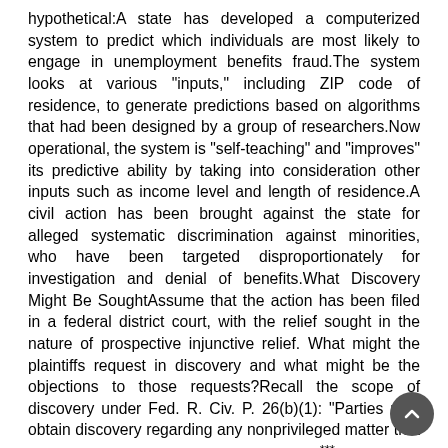hypothetical:A state has developed a computerized system to predict which individuals are most likely to engage in unemployment benefits fraud.The system looks at various "inputs," including ZIP code of residence, to generate predictions based on algorithms that had been designed by a group of researchers.Now operational, the system is "self-teaching" and "improves" its predictive ability by taking into consideration other inputs such as income level and length of residence.A civil action has been brought against the state for alleged systematic discrimination against minorities, who have been targeted disproportionately for investigation and denial of benefits.What Discovery Might Be SoughtAssume that the action has been filed in a federal district court, with the relief sought in the nature of prospective injunctive relief. What might the plaintiffs request in discovery and what might be the objections to those requests?Recall the scope of discovery under Fed. R. Civ. P. 26(b)(1): "Parties may obtain discovery regarding any nonprivileged matter that is relevant to any party's claim or defense***." Under our hypothetical, given the alleged discrimination and the central role of the automated system in enabling that discrimination, the